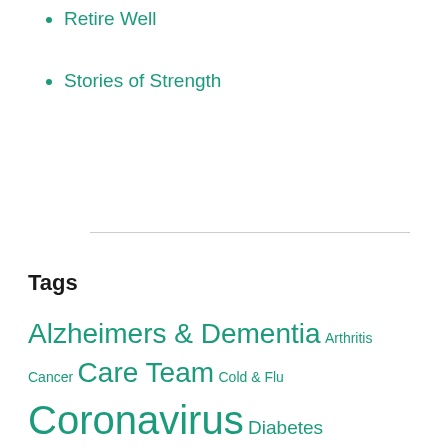Retire Well
Stories of Strength
Tags
Alzheimers & Dementia Arthritis Cancer Care Team Cold & Flu Coronavirus Diabetes Exercise Tutorial Health Insurance Healthy